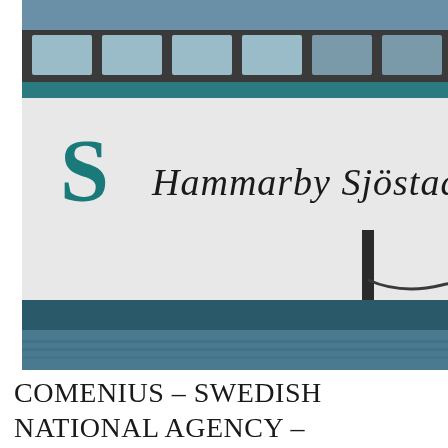[Figure (photo): Photo of a boat named 'Hammarby Sjöstad' with a teal/green S-logo on its white hull, moored at a dock]
COMENIUS – SWEDISH NATIONAL AGENCY – STOCKHOLM
[Figure (photo): Group of students posing outdoors in front of autumn-colored trees with red, orange and green foliage]
[Figure (photo): Group of students/visitors posing in front of a building entrance marked '3A' with golden doors]